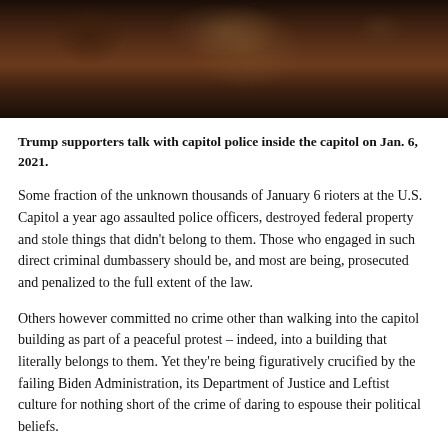[Figure (photo): Dark image of Trump supporters talking with capitol police inside the capitol on January 6, 2021. Figures visible in shadowy interior setting.]
Trump supporters talk with capitol police inside the capitol on Jan. 6, 2021.
Some fraction of the unknown thousands of January 6 rioters at the U.S. Capitol a year ago assaulted police officers, destroyed federal property and stole things that didn't belong to them. Those who engaged in such direct criminal dumbassery should be, and most are being, prosecuted and penalized to the full extent of the law.
Others however committed no crime other than walking into the capitol building as part of a peaceful protest – indeed, into a building that literally belongs to them. Yet they're being figuratively crucified by the failing Biden Administration, its Department of Justice and Leftist culture for nothing short of the crime of daring to espouse their political beliefs.
Americans who've done nothing wrong shouldn't be treated